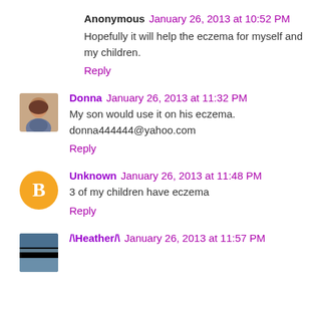Anonymous  January 26, 2013 at 10:52 PM
Hopefully it will help the eczema for myself and my children.
Reply
[Figure (photo): Avatar photo of Donna, a woman with dark hair]
Donna  January 26, 2013 at 11:32 PM
My son would use it on his eczema.
donna444444@yahoo.com
Reply
[Figure (logo): Blogger B logo orange circle icon for Unknown user]
Unknown  January 26, 2013 at 11:48 PM
3 of my children have eczema
Reply
[Figure (photo): Avatar photo of /\Heather/\ showing sky/clouds]
/\Heather/\  January 26, 2013 at 11:57 PM